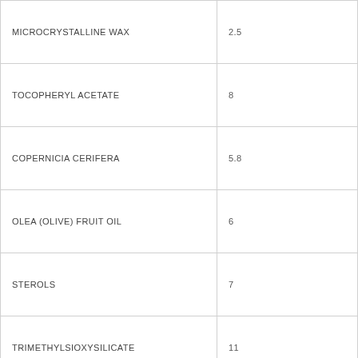| Ingredient | Value |
| --- | --- |
| MICROCRYSTALLINE WAX | 2.5 |
| TOCOPHERYL ACETATE | 8 |
| COPERNICIA CERIFERA | 5.8 |
| OLEA (OLIVE) FRUIT OIL | 6 |
| STEROLS | 7 |
| TRIMETHYLSIOXYSILICATE | 11 |
| CALENDULA OFFICINALIS | 5 |
|  |  |